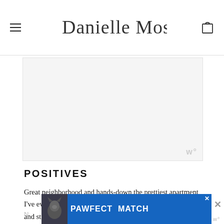Danielle Moss — navigation header with hamburger menu and bag icon
[Figure (other): Advertisement placeholder block (light gray background with watermark logo)]
POSITIVES
Great neighborhood and hands-down the prettiest apartment I've ever lived in. It's huge, rent is reasonable, the apartment and streets are so charming, parking is pretty easy unless there's a Cubs game, and I have a deck. Ultimately, even though living up here is a pain, I have loved this place. It really feels like home.
[Figure (other): PAWFECT MATCH advertisement banner at bottom of page with cat photo and close buttons]